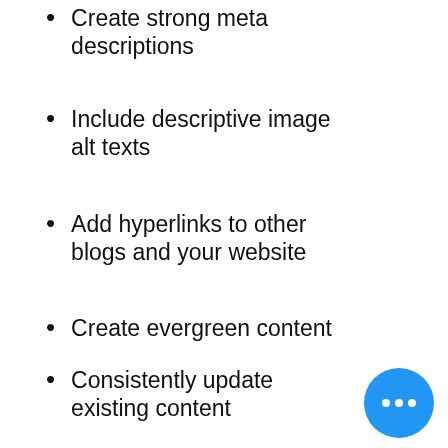Create strong meta descriptions
Include descriptive image alt texts
Add hyperlinks to other blogs and your website
Create evergreen content
Consistently update existing content
Incorporating SEO best practices in your blog can drive more traffic to your website, products, and services. A strong SEO blogging strategy can help you climb positions on Google's SERP, ultimately increasing your online